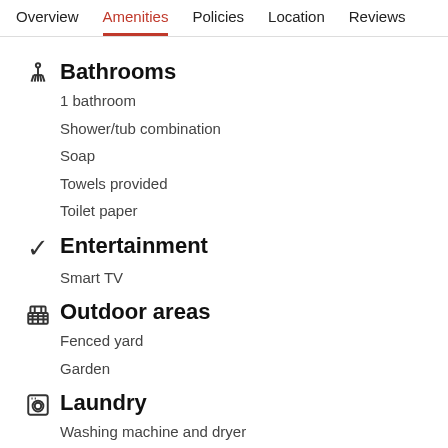Overview  Amenities  Policies  Location  Reviews
Bathrooms
1 bathroom
Shower/tub combination
Soap
Towels provided
Toilet paper
Entertainment
Smart TV
Outdoor areas
Fenced yard
Garden
Laundry
Washing machine and dryer